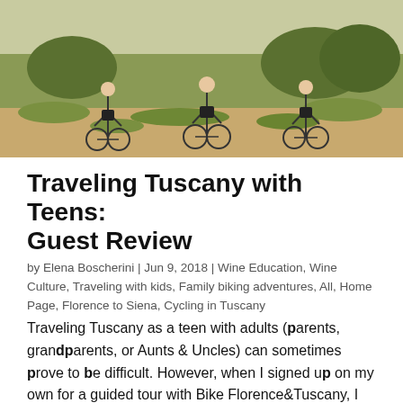[Figure (photo): Three cyclists on bicycles riding on a dirt path through a grassy field, viewed from behind, wearing dark shorts and light tops.]
Traveling Tuscany with Teens: Guest Review
by Elena Boscherini | Jun 9, 2018 | Wine Education, Wine Culture, Traveling with kids, Family biking adventures, All, Home Page, Florence to Siena, Cycling in Tuscany
Traveling Tuscany as a teen with adults (parents, grandparents, or Aunts & Uncles) can sometimes prove to be difficult. However, when I signed up on my own for a guided tour with Bike Florence&Tuscany, I knew I had found a promising activity which could